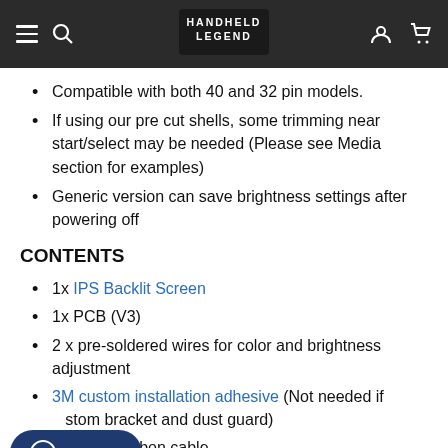Handheld Legend
Compatible with both 40 and 32 pin models.
If using our pre cut shells, some trimming near start/select may be needed (Please see Media section for examples)
Generic version can save brightness settings after powering off
CONTENTS
1x IPS Backlit Screen
1x PCB (V3)
2 x pre-soldered wires for color and brightness adjustment
3M custom installation adhesive (Not needed if ...stom bracket and dust guard)
1x 40 pin ribbon cable
1x 32 pin ribbon cable